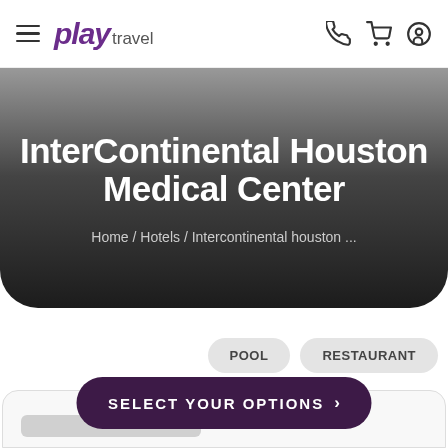play travel — navigation bar with hamburger menu, phone, cart, and user icons
InterContinental Houston Medical Center
Home / Hotels / Intercontinental houston ...
POOL
RESTAURANT
SELECT YOUR OPTIONS →